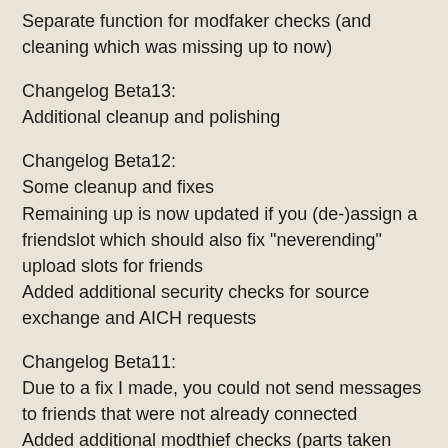Separate function for modfaker checks (and cleaning which was missing up to now)
Changelog Beta13:
Additional cleanup and polishing
Changelog Beta12:
Some cleanup and fixes
Remaining up is now updated if you (de-)assign a friendslot which should also fix "neverending" upload slots for friends
Added additional security checks for source exchange and AICH requests
Changelog Beta11:
Due to a fix I made, you could not send messages to friends that were not already connected
Added additional modthief checks (parts taken from Xtreme DLP by zz_fly)
Changelog Beta10:
Removed option to en-/disable secure identification - this should always be used and I never understood why that